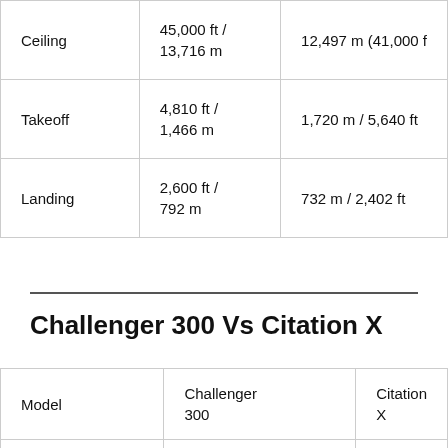|  | Col1 | Col2 |
| --- | --- | --- |
| Ceiling | 45,000 ft /
13,716 m | 12,497 m (41,000 f |
| Takeoff | 4,810 ft /
1,466 m | 1,720 m / 5,640 ft |
| Landing | 2,600 ft /
792 m | 732 m / 2,402 ft |
Challenger 300 Vs Citation X
| Model | Challenger 300 | Citation X |
| --- | --- | --- |
| Crew | 2 | 2 |
| Capacity | 9 | 8-11 |